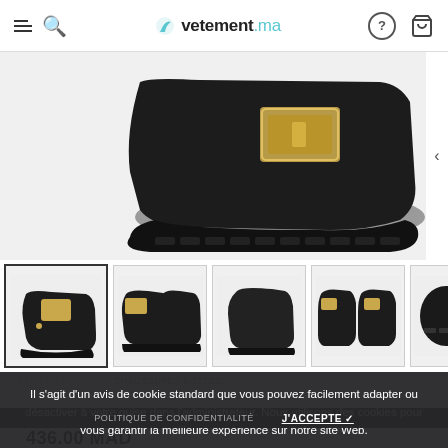vetement.ma — navigation header with menu, search, help, and cart icons
[Figure (photo): Close-up of a black leather ankle boot with gold buckle detail and chunky lug sole, on white background]
[Figure (photo): Thumbnail row showing 5 views of black ankle boots: front-side with buckle pattern, pair side view, single front, pair front/back, and sole view]
Il s'agit d'un avis de cookie standard que vous pouvez facilement adapter ou désactiver à votre guise dans l'administrateur. Nous utilisons des cookies pour vous garantir la meilleure expérience sur notre site Web.
TYPE DE PRODUIT: Chaussures Bottes
POLITIQUE DE CONFIDENTIALITÉ   J'ACCEPTE ✓
436.00 MAD